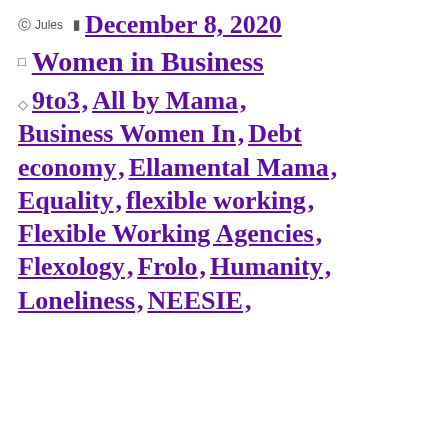Jules  December 8, 2020
Women in Business
9to3, All by Mama, Business Women In, Debt economy, Ellamental Mama, Equality, flexible working, Flexible Working Agencies, Flexology, Frolo, Humanity, Loneliness, NEESIE